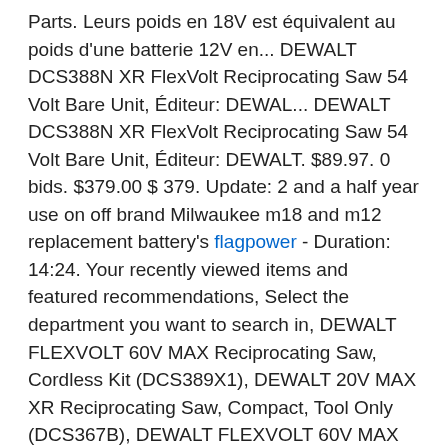Parts. Leurs poids en 18V est équivalent au poids d'une batterie 12V en... DEWALT DCS388N XR FlexVolt Reciprocating Saw 54 Volt Bare Unit, Éditeur: DEWAL... DEWALT DCS388N XR FlexVolt Reciprocating Saw 54 Volt Bare Unit, Éditeur: DEWALT. $89.97. 0 bids. $379.00 $ 379. Update: 2 and a half year use on off brand Milwaukee m18 and m12 replacement battery's flagpower - Duration: 14:24. Your recently viewed items and featured recommendations, Select the department you want to search in, DEWALT FLEXVOLT 60V MAX Reciprocating Saw, Cordless Kit (DCS389X1), DEWALT 20V MAX XR Reciprocating Saw, Compact, Tool Only (DCS367B), DEWALT FLEXVOLT 60V MAX Reciprocating Saw, Cordless, Tool Only (DCS389B), DEWALT ATOMIC 20V MAX Reciprocating Saw, One-Handed, Cordless, Tool Only (DCS369B), DEWALT 20V MAX Cordless Reciprocating Saw, Tool Only...